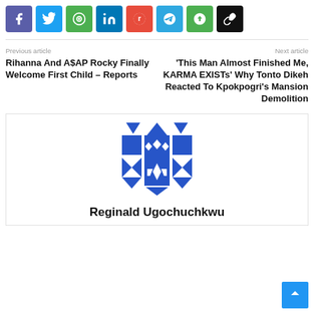[Figure (screenshot): Social share buttons: Facebook (purple), Twitter (cyan), WhatsApp (green), LinkedIn (dark blue), Reddit (orange-red), Telegram (blue), Line (green), Link/copy (black)]
Previous article
Next article
Rihanna And A$AP Rocky Finally Welcome First Child – Reports
'This Man Almost Finished Me, KARMA EXISTs' Why Tonto Dikeh Reacted To Kpokpogri's Mansion Demolition
[Figure (illustration): Blue and white geometric patterned avatar/profile image for author Reginald Ugochuchkwu]
Reginald Ugochuchkwu